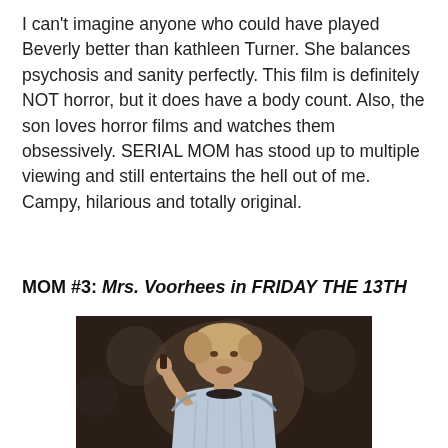I can't imagine anyone who could have played Beverly better than kathleen Turner. She balances psychosis and sanity perfectly. This film is definitely NOT horror, but it does have a body count. Also, the son loves horror films and watches them obsessively. SERIAL MOM has stood up to multiple viewing and still entertains the hell out of me. Campy, hilarious and totally original.
MOM #3: Mrs. Voorhees in FRIDAY THE 13TH
[Figure (photo): A middle-aged woman with short curly hair wearing a light blue cable-knit sweater, holding something in her raised hand, in a dark indoor setting with circular decorations in background]